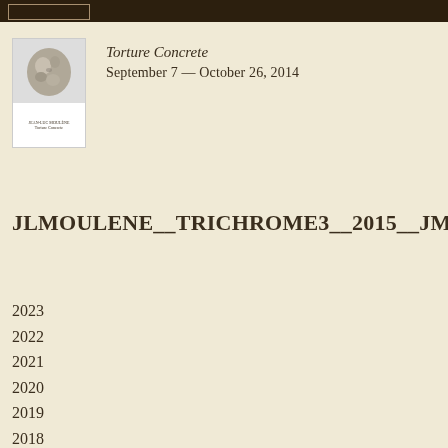[Figure (photo): Book cover thumbnail showing a small stone or clay head sculpture against a light background, with text at the bottom of the cover.]
Torture Concrete
September 7 — October 26, 2014
JLMOULENE__TRICHROME3__2015__JM1063__VIEW2__C
2023
2022
2021
2020
2019
2018
2017
2016